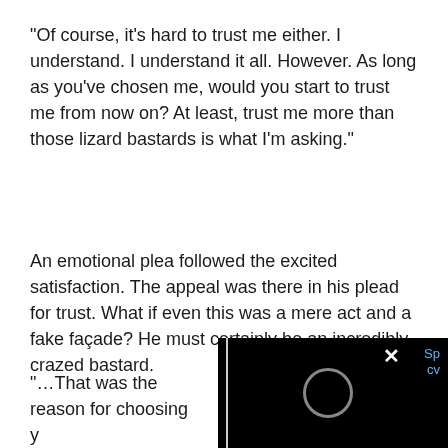“Of course, it’s hard to trust me either.  I understand.  I understand it all.  However.  As long as you’ve chosen me, would you start to trust me from now on?  At least, trust me more than those lizard bastards is what I’m asking.”
An emotional plea followed the excited satisfaction.  The appeal was there in his plead for trust.  What if even this was a mere act and a fake façade?  He must certainly be an incredibly crazed bastard.
“…That was the reason for choosing y… place.”
[Figure (screenshot): A dark overlay popup/dialog box with a close button (X) and a loading spinner circle, partially covering the bottom-right of the page. Blue text visible on the right side.]